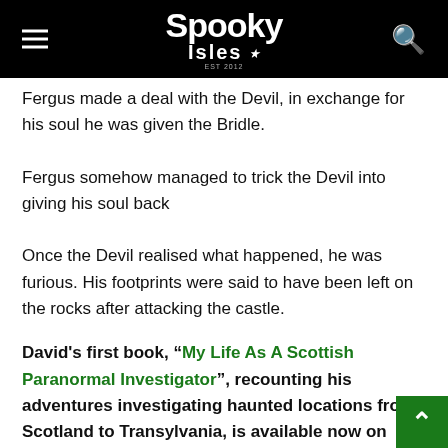Spooky Isles
Fergus made a deal with the Devil, in exchange for his soul he was given the Bridle.
Fergus somehow managed to trick the Devil into giving his soul back
Once the Devil realised what happened, he was furious. His footprints were said to have been left on the rocks after attacking the castle.
David's first book, “My Life As A Scottish Paranormal Investigator”, recounting his adventures investigating haunted locations from Scotland to Transylvania, is available now on Amazon.